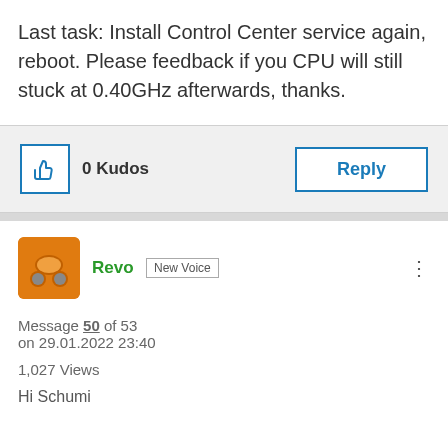Last task: Install Control Center service again, reboot. Please feedback if you CPU will still stuck at 0.40GHz afterwards, thanks.
0 Kudos
Reply
Revo New Voice
Message 50 of 53
on 29.01.2022 23:40
1,027 Views
Hi Schumi